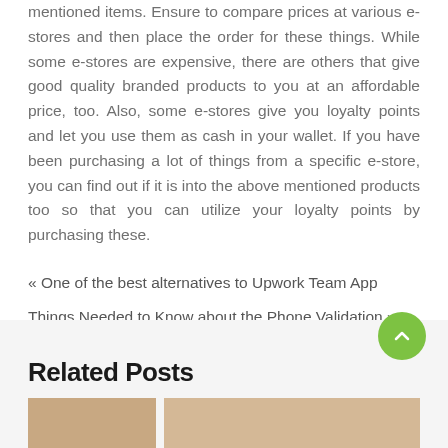mentioned items. Ensure to compare prices at various e-stores and then place the order for these things. While some e-stores are expensive, there are others that give good quality branded products to you at an affordable price, too. Also, some e-stores give you loyalty points and let you use them as cash in your wallet. If you have been purchasing a lot of things from a specific e-store, you can find out if it is into the above mentioned products too so that you can utilize your loyalty points by purchasing these.
« One of the best alternatives to Upwork Team App
Things Needed to Know about the Phone Validation »
Related Posts
[Figure (photo): Partial view of related post thumbnail images at the bottom of the page]